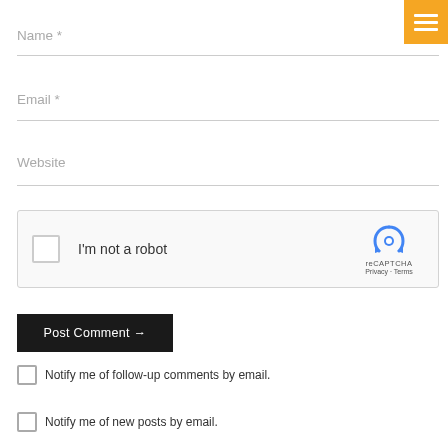[Figure (screenshot): Orange hamburger menu button in top-right corner]
Name *
Email *
Website
[Figure (other): reCAPTCHA widget with checkbox labeled 'I'm not a robot' and reCAPTCHA logo with Privacy and Terms links]
Post Comment →
Notify me of follow-up comments by email.
Notify me of new posts by email.